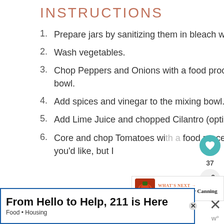INSTRUCTIONS
Prepare jars by sanitizing them in bleach water, or in a hot rinse cycle in the dishwasher.
Wash vegetables.
Chop Peppers and Onions with a food processor or blender. Dump in a very large mixing bowl.
Add spices and vinegar to the mixing bowl.
Add Lime Juice and chopped Cilantro (optional) to the mixing bowl.
Core and chop Tomatoes with food processor or blender. You can peel beforehand if you'd like, but I
From Hello to Help, 211 is Here
Food • Housing